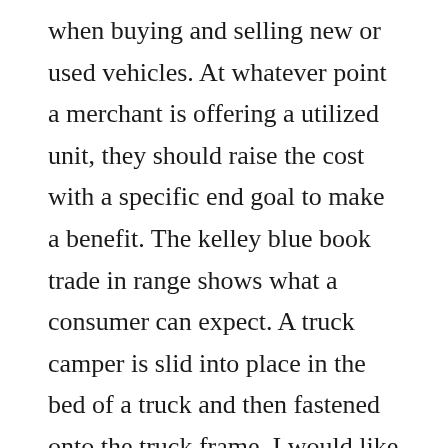when buying and selling new or used vehicles. At whatever point a merchant is offering a utilized unit, they should raise the cost with a specific end goal to make a benefit. The kelley blue book trade in range shows what a consumer can expect. A truck camper is slid into place in the bed of a truck and then fastened onto the truck frame. I would like to sale my truck camper because we need something bigger i just need to know what it is worth i have a 1993 elkhorn by fleetwood truck camper it has air heat and everything works. Determine the current